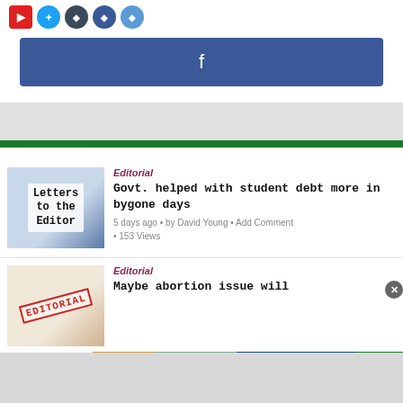[Figure (screenshot): Social share icons row (red, twitter blue, dark, blue, light blue circles)]
[Figure (screenshot): Facebook share button (blue bar with f logo)]
Editorial
Govt. helped with student debt more in bygone days
5 days ago • by David Young • Add Comment • 153 Views
Editorial
Maybe abortion issue will
[Figure (infographic): SmartPak advertisement: 50% Off Two Months of ColiCare, ColiCare Eligible Supplements, CODE: COLICARE10, Shop Now]